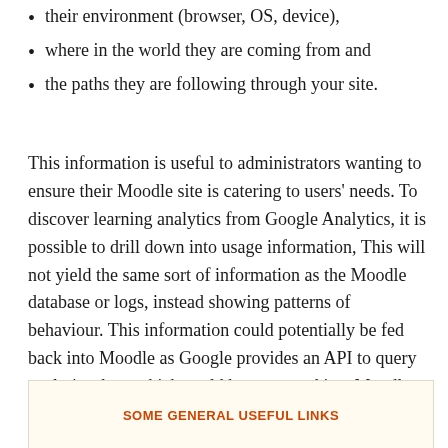their environment (browser, OS, device),
where in the world they are coming from and
the paths they are following through your site.
This information is useful to administrators wanting to ensure their Moodle site is catering to users' needs. To discover learning analytics from Google Analytics, it is possible to drill down into usage information, This will not yield the same sort of information as the Moodle database or logs, instead showing patterns of behaviour. This information could potentially be fed back into Moodle as Google provides an API to query analytics data, which could be presented in a Moodle report or block.
SOME GENERAL USEFUL LINKS